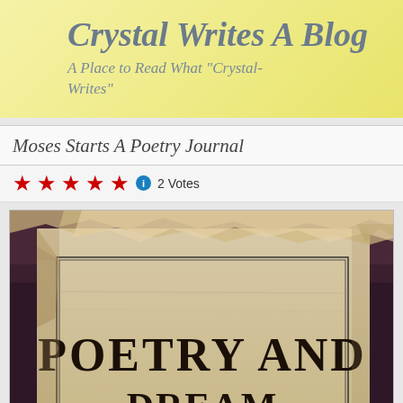Crystal Writes A Blog
A Place to Read What "Crystal-Writes"
Moses Starts A Poetry Journal
★★★★★  ℹ 2 Votes
[Figure (photo): Aged, worn book cover with torn and crinkled paper pages, showing text 'POETRY AND' with partial text below, in a vintage/antique style with dark brown and cream tones.]